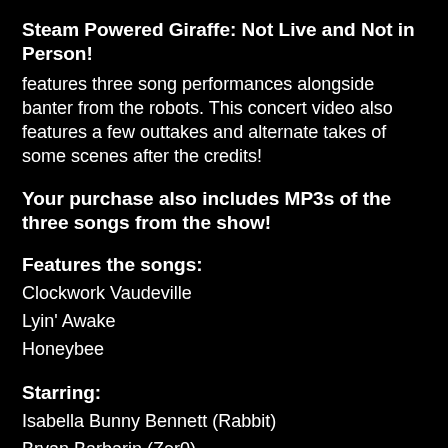Steam Powered Giraffe: Not Live and Not in Person!
features three song performances alongside banter from the robots. This concert video also features a few outtakes and alternate takes of some scenes after the credits!
Your purchase also includes MP3s of the three songs from the show!
Features the songs:
Clockwork Vaudeville
Lyin' Awake
Honeybee
Starring:
Isabella Bunny Bennett (Rabbit)
Bryan Barbarin (Zer0)